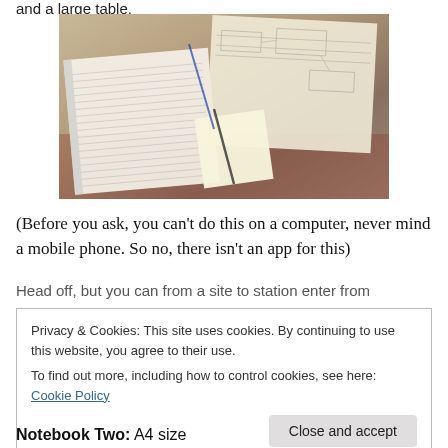and a large table.
[Figure (photo): Photo of notebooks and papers covered in handwritten notes and diagrams, spread out on a table]
(Before you ask, you can't do this on a computer, never mind a mobile phone. So no, there isn't an app for this)
Privacy & Cookies: This site uses cookies. By continuing to use this website, you agree to their use.
To find out more, including how to control cookies, see here: Cookie Policy
Notebook Two: A4 size